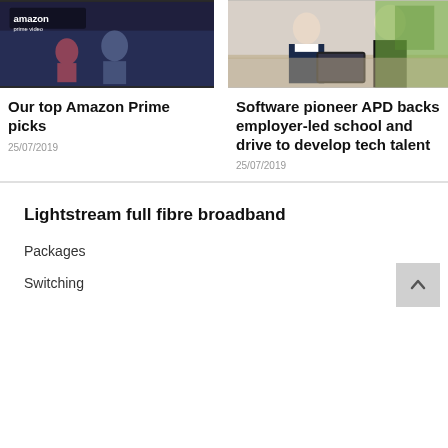[Figure (photo): Amazon Prime Video screen with people in background]
Our top Amazon Prime picks
25/07/2019
[Figure (photo): Two business professionals sitting at a table with a tablet]
Software pioneer APD backs employer-led school and drive to develop tech talent
25/07/2019
Lightstream full fibre broadband
Packages
Switching